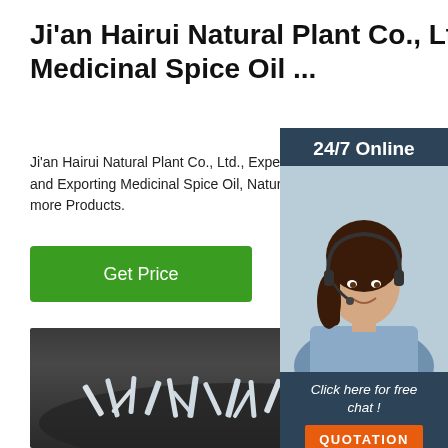Ji'an Hairui Natural Plant Co., Ltd. - Medicinal Spice Oil ...
Ji'an Hairui Natural Plant Co., Ltd., Experts in Manufacturing and Exporting Medicinal Spice Oil, Natural Plant more Products.
Get Price
[Figure (infographic): Chat widget showing '24/7 Online' header, photo of a woman with headset smiling, 'Click here for free chat !' text, and orange QUOTATION button, on dark blue background]
[Figure (photo): Dark background photo showing white crystal/needle-like substances (menthol crystals) piled on a dark surface, with a red TOP watermark in lower right corner]